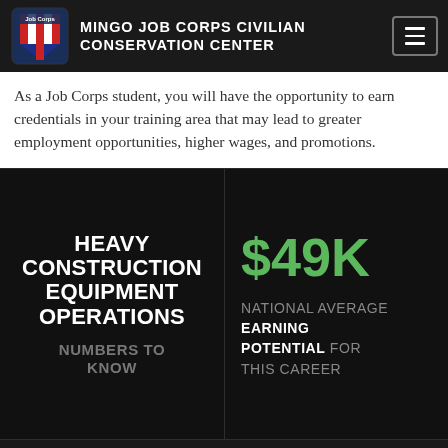MINGO JOB CORPS CIVILIAN CONSERVATION CENTER
As a Job Corps student, you will have the opportunity to earn credentials in your training area that may lead to greater employment opportunities, higher wages, and promotions.
HEAVY CONSTRUCTION EQUIPMENT OPERATIONS NUMBERS TO KNOW
$49K NATIONAL AVERAGE EARNING POTENTIAL FOR THIS CAREER
COMPLETION TIMES